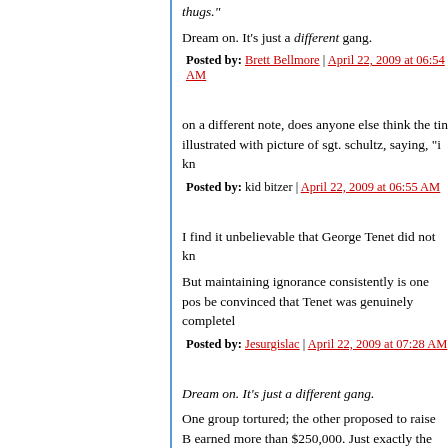thugs."
Dream on. It's just a different gang.
Posted by: Brett Bellmore | April 22, 2009 at 06:54 AM
on a different note, does anyone else think the tin illustrated with picture of sgt. schultz, saying, "i kn
Posted by: kid bitzer | April 22, 2009 at 06:55 AM
I find it unbelievable that George Tenet did not kn
But maintaining ignorance consistently is one pos be convinced that Tenet was genuinely completel
Posted by: Jesurgislac | April 22, 2009 at 07:28 AM
Dream on. It's just a different gang.
One group tortured; the other proposed to raise B earned more than $250,000. Just exactly the sam
Posted by: rea | April 22, 2009 at 07:48 AM